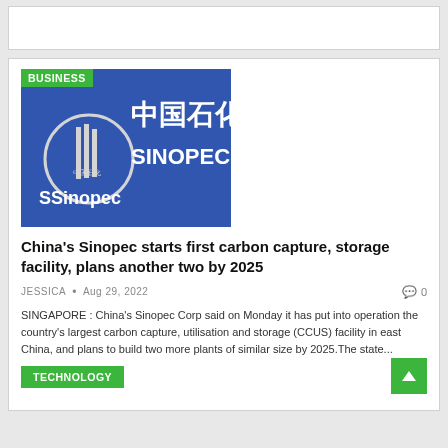[Figure (photo): Sinopec logo sign with Chinese characters 中国石化 and SINOPEC text on blue background]
China's Sinopec starts first carbon capture, storage facility, plans another two by 2025
JESSICA • Aug 29, 2022
SINGAPORE : China's Sinopec Corp said on Monday it has put into operation the country's largest carbon capture, utilisation and storage (CCUS) facility in east China, and plans to build two more plants of similar size by 2025.The state...